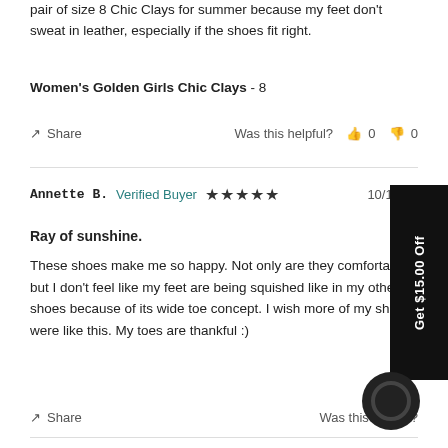pair of size 8 Chic Clays for summer because my feet don't sweat in leather, especially if the shoes fit right.
Women's Golden Girls Chic Clays - 8
Share   Was this helpful?  👍 0  👎 0
Annette B.  Verified Buyer ★★★★★  10/12/20
Ray of sunshine.
These shoes make me so happy. Not only are they comfortable but I don't feel like my feet are being squished like in my other shoes because of its wide toe concept. I wish more of my shoes were like this. My toes are thankful :)
Share   Was this helpful?